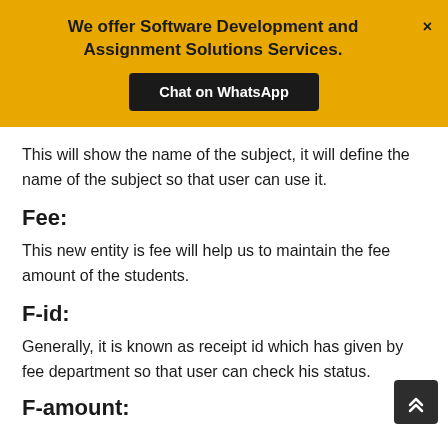We offer Software Development and Assignment Solutions Services.
Chat on WhatsApp
This will show the name of the subject, it will define the name of the subject so that user can use it.
Fee:
This new entity is fee will help us to maintain the fee amount of the students.
F-id:
Generally, it is known as receipt id which has given by fee department so that user can check his status.
F-amount: